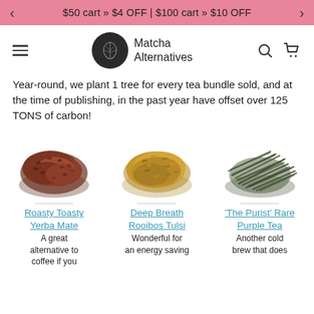$50 cart » $4 OFF | $100 cart » $10 OFF
[Figure (logo): Matcha Alternatives logo with dark circular leaf icon and brand name]
Year-round, we plant 1 tree for every tea bundle sold, and at the time of publishing, in the past year have offset over 125 TONS of carbon!
[Figure (photo): Roasty Toasty Yerba Mate - dark reddish-brown loose tea leaves pile]
Roasty Toasty Yerba Mate
A great alternative to coffee if you
[Figure (photo): Deep Breath Rooibos Tulsi - golden-green loose tea leaves pile]
Deep Breath Rooibos Tulsi
Wonderful for an energy saving
[Figure (photo): 'The Purist' Rare Purple Tea - dark long needle-like loose tea leaves pile]
'The Purist' Rare Purple Tea
Another cold brew that does